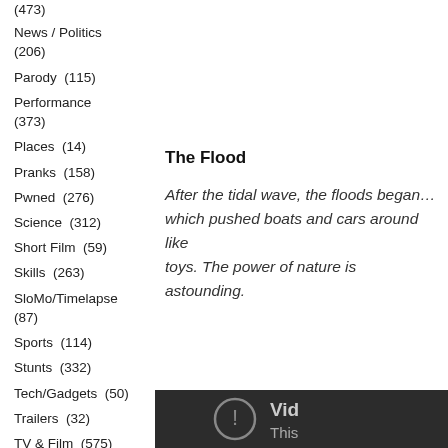(473)
News / Politics
(206)
Parody  (115)
Performance
(373)
Places  (14)
Pranks  (158)
Pwned  (276)
Science  (312)
Short Film  (59)
Skills  (263)
SloMo/Timelapse
(87)
Sports  (114)
Stunts  (332)
Tech/Gadgets  (50)
Trailers  (32)
TV & Film  (575)
Unintentional Comedy  (625)
Video Bloggers
(78)
Video Games  (85)
The Flood
After the tidal wave, the floods began… which pushed boats and cars around like toys. The power of nature is astounding.
[Figure (screenshot): Dark video player panel showing an error icon (circle with exclamation mark) and partial text 'Vid...' and 'This...' indicating a video unavailable message.]